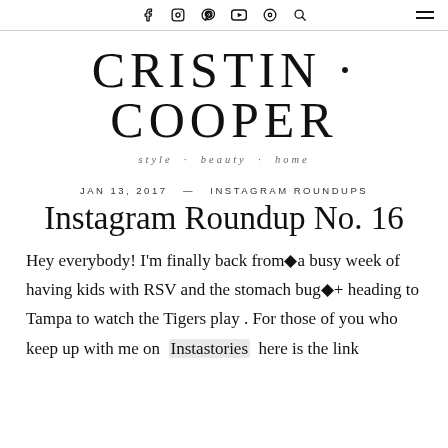Navigation bar with social icons and menu
CRISTIN · COOPER
style · beauty · home
JAN 13, 2017  —  INSTAGRAM ROUNDUPS
Instagram Roundup No. 16
Hey everybody! I'm finally back from�a busy week of having kids with RSV and the stomach bug�+ heading to Tampa to watch the Tigers play . For those of you who keep up with me on  Instastories  here is the link